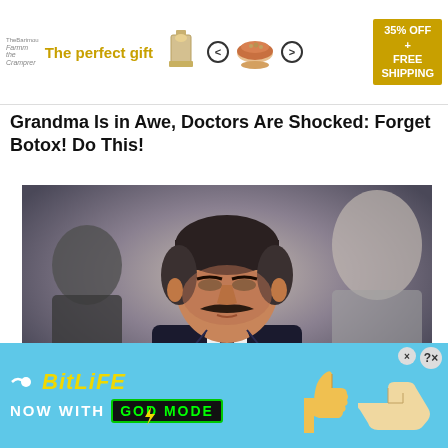[Figure (screenshot): Top banner advertisement: 'The perfect gift' in gold text with product icons, navigation arrows, and a '35% OFF + FREE SHIPPING' promotion box in gold]
Grandma Is in Awe, Doctors Are Shocked: Forget Botox! Do This!
[Figure (photo): A man with a mustache wearing a dark suit looking downward, with 'People' magazine logo overlaid at the bottom left in white bold text]
[Figure (screenshot): BitLife game advertisement on cyan background: 'BitLife NOW WITH GOD MODE' with thumbs up emoji and hand illustrations, close/question buttons in top right]